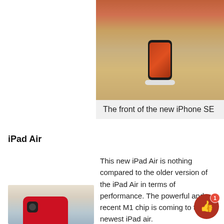[Figure (photo): Photo of the front of a new iPhone SE displayed on a white stand on a wooden surface]
The front of the new iPhone SE
iPad Air
This new iPad Air is nothing compared to the older version of the iPad Air in terms of performance. The powerful and recent M1 chip is coming to the newest iPad air.
The M1 chip is never before seen
[Figure (photo): Photo of a red iPhone SE on a wooden surface]